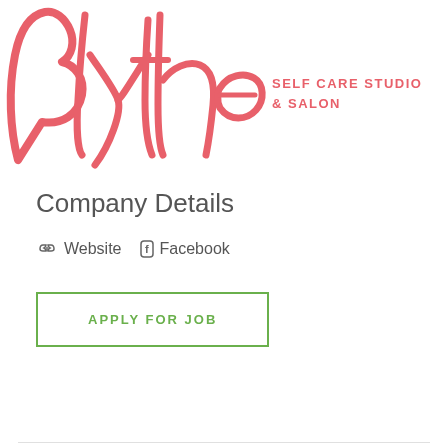[Figure (logo): Blythe Self Care Studio & Salon logo — large pink cursive script 'Blythe' with 'SELF CARE STUDIO & SALON' in pink uppercase letters to the right]
Company Details
Website  Facebook
APPLY FOR JOB